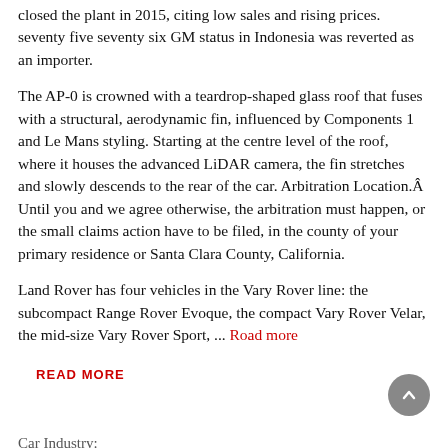closed the plant in 2015, citing low sales and rising prices. seventy five seventy six GM status in Indonesia was reverted as an importer.
The AP-0 is crowned with a teardrop-shaped glass roof that fuses with a structural, aerodynamic fin, influenced by Components 1 and Le Mans styling. Starting at the centre level of the roof, where it houses the advanced LiDAR camera, the fin stretches and slowly descends to the rear of the car. Arbitration Location.Â Until you and we agree otherwise, the arbitration must happen, or the small claims action have to be filed, in the county of your primary residence or Santa Clara County, California.
Land Rover has four vehicles in the Vary Rover line: the subcompact Range Rover Evoque, the compact Vary Rover Velar, the mid-size Vary Rover Sport, ... Road more
READ MORE
Car Industry: